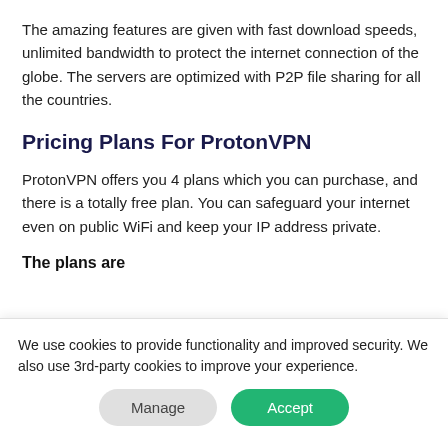The amazing features are given with fast download speeds, unlimited bandwidth to protect the internet connection of the globe. The servers are optimized with P2P file sharing for all the countries.
Pricing Plans For ProtonVPN
ProtonVPN offers you 4 plans which you can purchase, and there is a totally free plan. You can safeguard your internet even on public WiFi and keep your IP address private.
The plans are
We use cookies to provide functionality and improved security. We also use 3rd-party cookies to improve your experience.